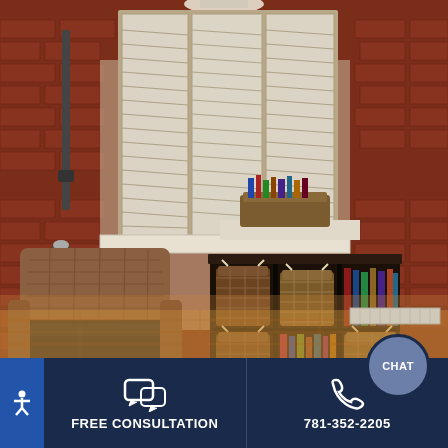[Figure (photo): Interior room photo showing a wicker armchair with dark cushion on the left, a dark wood bookcase/cubby storage unit in the center with woven baskets and books, plantation shutters on a window in the background, exposed brick wall, and warm wood floor. A basket with books/items sits on the windowsill above the bookcase.]
FREE CONSULTATION
781-352-2205
CHAT